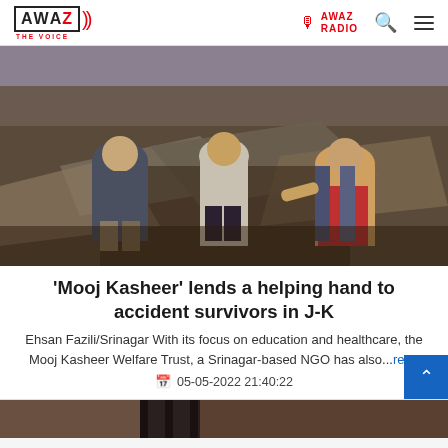AWAZ THE VOICE | AWAZ RADIO
[Figure (photo): Three men standing outdoors amid fire-damaged debris and collapsed metal roofing structures. They appear to be surveying damage after an accident or fire.]
'Mooj Kasheer' lends a helping hand to accident survivors in J-K
Ehsan Fazili/Srinagar With its focus on education and healthcare, the Mooj Kasheer Welfare Trust, a Srinagar-based NGO has also...read
05-05-2022 21:40:22
[Figure (photo): Partial view of another news article image at the bottom of the page.]